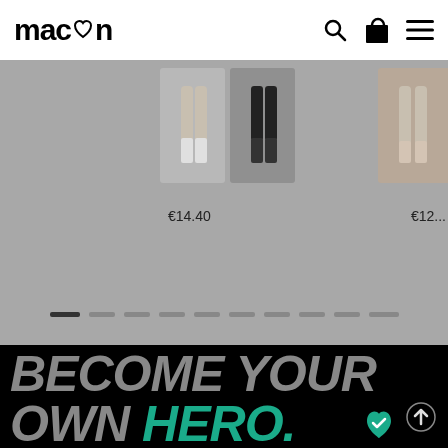macron
[Figure (screenshot): Product thumbnail images showing legs/socks in grey and dark colorways]
€14.40
€12...
[Figure (other): Pagination dots row with first dot active]
BECOME YOUR OWN HERO.